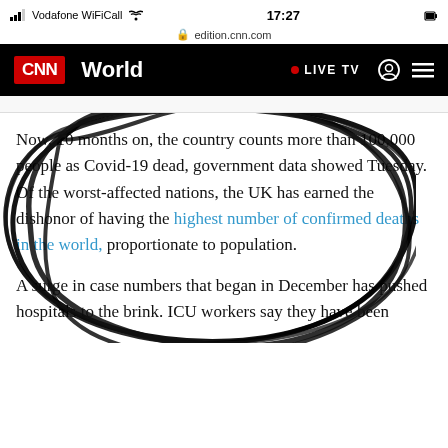Vodafone WiFiCall  17:27  edition.cnn.com
[Figure (screenshot): CNN navigation bar showing CNN logo, World section label, LIVE TV button, user icon, and hamburger menu on black background]
Now, 10 months on, the country counts more than 100,000 people as Covid-19 dead, government data showed Tuesday. Of the worst-affected nations, the UK has earned the dishonor of having the highest number of confirmed deaths in the world, proportionate to population.
[Figure (illustration): Hand-drawn black scribble/circle drawn over the article text, circling the paragraph about the UK having the highest number of confirmed deaths in the world]
A surge in case numbers that began in December has pushed hospitals to the brink. ICU workers say they have been